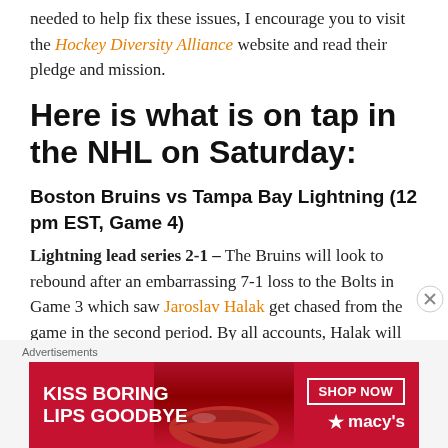needed to help fix these issues, I encourage you to visit the Hockey Diversity Alliance website and read their pledge and mission.
Here is what is on tap in the NHL on Saturday:
Boston Bruins vs Tampa Bay Lightning (12 pm EST, Game 4)
Lightning lead series 2-1 – The Bruins will look to rebound after an embarrassing 7-1 loss to the Bolts in Game 3 which saw Jaroslav Halak get chased from the game in the second period. By all accounts, Halak will be
[Figure (other): Macy's advertisement banner with text 'KISS BORING LIPS GOODBYE' and 'SHOP NOW' button on red background with model photo]